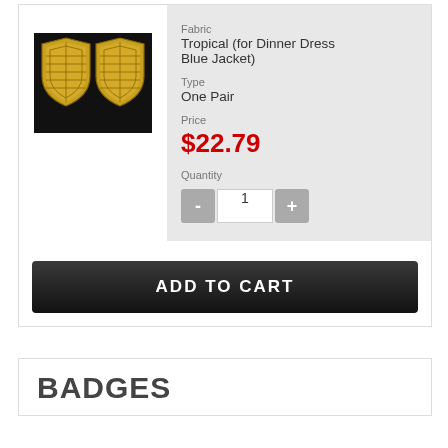[Figure (photo): Two gold military shield badges on dark background]
Fabric
Tropical (for Dinner Dress Blue Jacket)
Type
One Pair
Price
$22.79
Quantity
1
ADD TO CART
BADGES